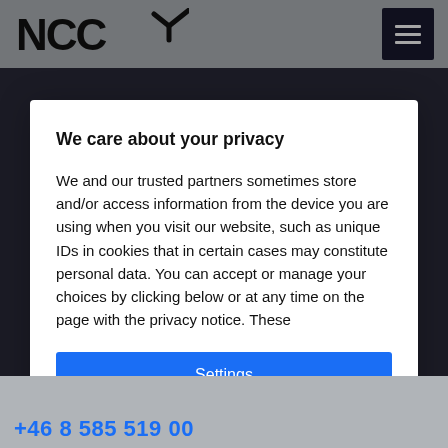NCC
We care about your privacy
We and our trusted partners sometimes store and/or access information from the device you are using when you visit our website, such as unique IDs in cookies that in certain cases may constitute personal data. You can accept or manage your choices by clicking below or at any time on the page with the privacy notice. These
Settings
Accept all
+46 8 585 519 00